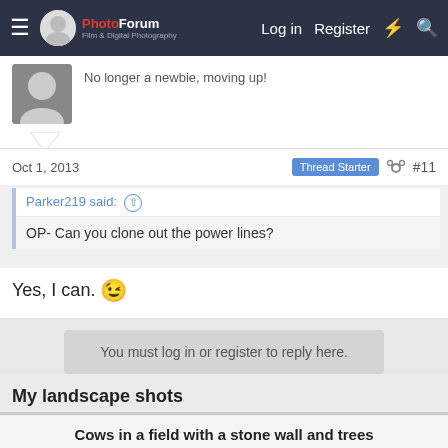ThePhotoForum - Film & Digital Photography | Log in | Register
No longer a newbie, moving up!
Oct 1, 2013  Thread Starter  #11
Parker219 said:
OP- Can you clone out the power lines?
Yes, I can. 😉
You must log in or register to reply here.
My landscape shots
Cows in a field with a stone wall and trees